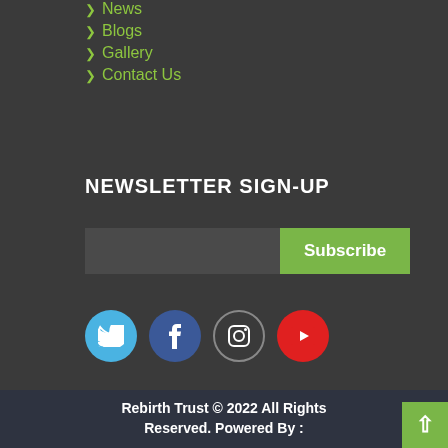News
Blogs
Gallery
Contact Us
NEWSLETTER SIGN-UP
[Figure (other): Email subscription form with text input field and green Subscribe button]
[Figure (other): Social media icons: Twitter (blue), Facebook (dark blue), Instagram (outlined), YouTube (red)]
Rebirth Trust © 2022 All Rights Reserved. Powered By :